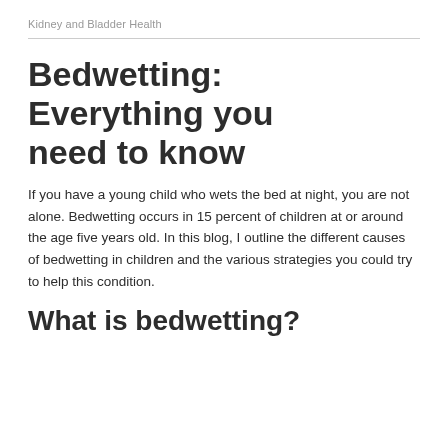Kidney and Bladder Health
Bedwetting: Everything you need to know
If you have a young child who wets the bed at night, you are not alone. Bedwetting occurs in 15 percent of children at or around the age five years old. In this blog, I outline the different causes of bedwetting in children and the various strategies you could try to help this condition.
What is bedwetting?